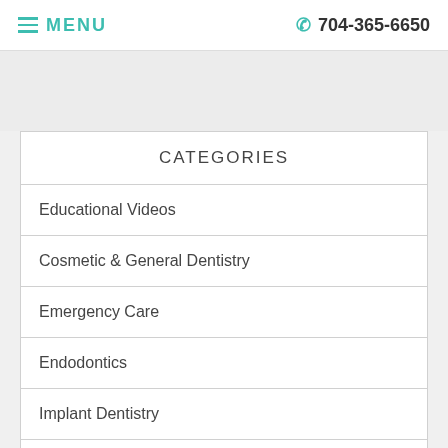MENU  704-365-6650
CATEGORIES
Educational Videos
Cosmetic & General Dentistry
Emergency Care
Endodontics
Implant Dentistry
Oral Health
Oral Hygiene